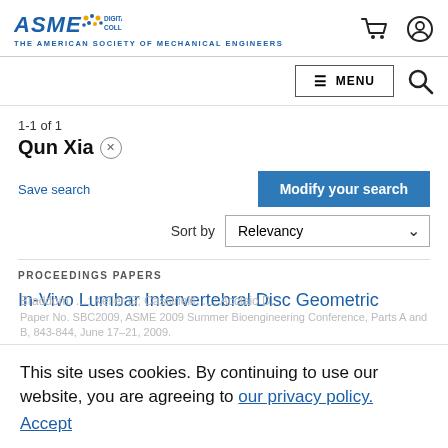[Figure (logo): ASME Digital Collection logo with tagline 'The American Society of Mechanical Engineers']
[Figure (other): Shopping cart and user account icons in header]
[Figure (other): Menu button with hamburger icon and search magnifying glass icon]
1-1 of 1
Qun Xia ×
Save search
Modify your search
Sort by Relevancy
PROCEEDINGS PAPERS
In-Vivo Lumbar Intervertebral Disc Geometric
This site uses cookies. By continuing to use our website, you are agreeing to our privacy policy. Accept